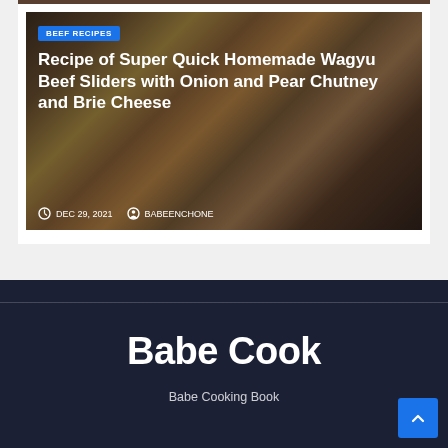[Figure (photo): Food photo collage showing wagyu beef sliders with onion, pear chutney and brie cheese, along with other food ingredients]
BEEF RECIPES
Recipe of Super Quick Homemade Wagyu Beef Sliders with Onion and Pear Chutney and Brie Cheese
DEC 29, 2021   BABEENCHONE
Babe Cook
Babe Cooking Book